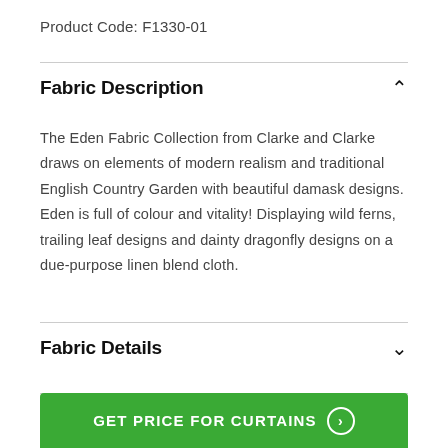Product Code: F1330-01
Fabric Description
The Eden Fabric Collection from Clarke and Clarke draws on elements of modern realism and traditional English Country Garden with beautiful damask designs. Eden is full of colour and vitality! Displaying wild ferns, trailing leaf designs and dainty dragonfly designs on a due-purpose linen blend cloth.
Fabric Details
GET PRICE FOR CURTAINS